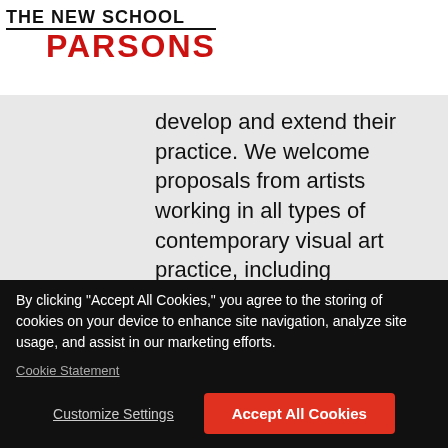[Figure (logo): The New School Parsons logo — 'THE NEW SCHOOL' in black bold uppercase with underline, 'PARSONS' in red bold uppercase below]
develop and extend their practice. We welcome proposals from artists working in all types of contemporary visual art practice, including photography, new media, fine art, artists' moving image, live art, crafts, design, architecture, site-specific, socially engaged and
By clicking "Accept All Cookies," you agree to the storing of cookies on your device to enhance site navigation, analyze site usage, and assist in our marketing efforts.
Cookie Statement
Customize Settings
Accept All Cookies